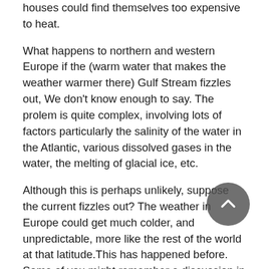houses could find themselves too expensive to heat.
What happens to northern and western Europe if the (warm water that makes the weather warmer there) Gulf Stream fizzles out, We don't know enough to say. The prolem is quite complex, involving lots of factors particularly the salinity of the water in the Atlantic, various dissolved gases in the water, the melting of glacial ice, etc.
Although this is perhaps unlikely, suppose the current fizzles out? The weather in Europe could get much colder, and unpredictable, more like the rest of the world at that latitude.This has happened before. Some of you might remember a discussion in the classic film "The Wicker Man" (this is the part that was largely cut out by the studio, much to the consternation of the films viewers. This was an early